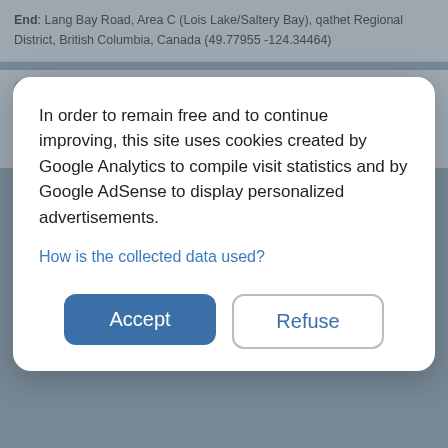End: Lang Bay Road, Area C (Lois Lake/Saltery Bay), qathet Regional District, British Columbia, Canada (49.77955 -124.34464)
Sea Lion Caves
Canada > British Columbia > Capital Regional District > Juan de Fuca Electoral Area
Juan de Fuca Park, Vancouver Island, #hike, #JuanDeFuca...
In order to remain free and to continue improving, this site uses cookies created by Google Analytics to compile visit statistics and by Google AdSense to display personalized advertisements.
How is the collected data used?
Accept
Refuse
Distance: 114 km - Elevation gain: 353 m - Maximum elevation: 364 m - Total time: 3 h 1 m - Date: 2020-01-18 - Coordinates: -3786939 144.24152 -3785278 144.27187
Start: Anakie Gorge Picnic Site, Gorge Road, Staughton Vale, Victoria, Australia (-3786087 144.27108)
End: Anakie Gorge Walk, Staughton Vale, Victoria, Australia (-3786075 144.27187)